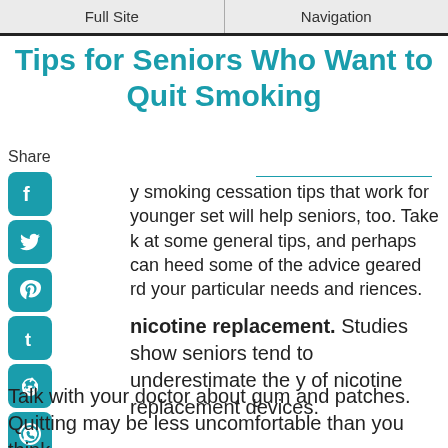Full Site | Navigation
Tips for Seniors Who Want to Quit Smoking
y smoking cessation tips that work for younger set will help seniors, too. Take k at some general tips, and perhaps can heed some of the advice geared rd your particular needs and riences.
nicotine replacement. Studies show seniors tend to underestimate the y of nicotine replacement devices. Talk with your doctor about gum and patches. Quitting may be less uncomfortable than you think.